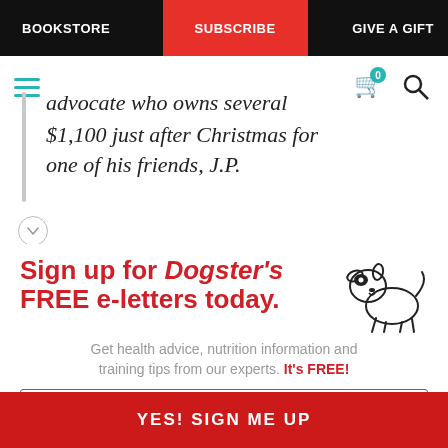BOOKSTORE | SUBSCRIBE | GIVE A GIFT
advocate who owns several
$1,100 just after Christmas for one of his friends, J.P.
[Figure (infographic): Dogster newsletter signup promotional block with illustrated dog graphic. Headline: Sign up for Dogster's FREE e-letters today. Subtext: Get health advice, nutrition information and training tips from our experts. It's FREE! Email input field and YES! SIGN ME UP button.]